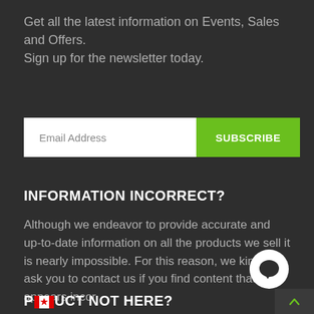Get all the latest information on Events, Sales and Offers.
Sign up for the newsletter today.
[Figure (screenshot): Email address input field with white background and 'Email Address' placeholder text, next to a green 'SUBSCRIBE' button]
INFORMATION INCORRECT?
Although we endeavor to provide accurate and up-to-date information on all the products we sell it is nearly impossible. For this reason, we kindly ask you to contact us if you find content that appears incor
PRODUCT NOT HERE?